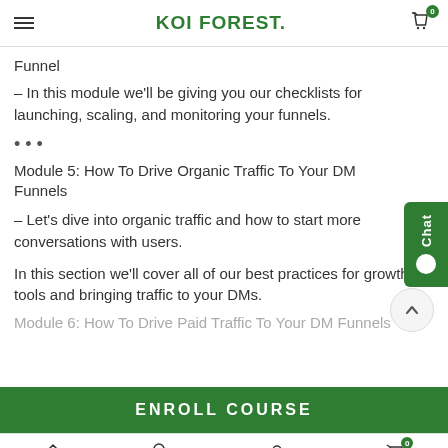KOI FOREST.
Funnel
– In this module we'll be giving you our checklists for launching, scaling, and monitoring your funnels.
•••
Module 5: How To Drive Organic Traffic To Your DM Funnels
– Let's dive into organic traffic and how to start more conversations with users.
In this section we'll cover all of our best practices for growth tools and bringing traffic to your DMs.
Module 6: How To Drive Paid Traffic To Your DM Funnels
ENROLL COURSE
Home  Shop  My account  Cart